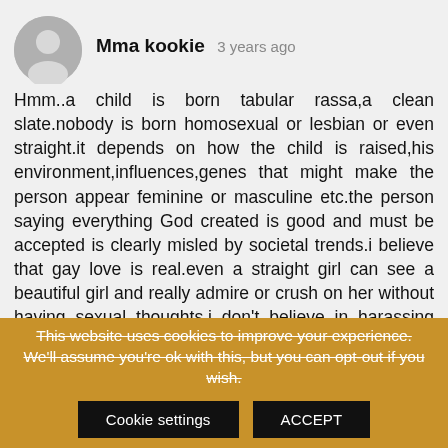Mma kookie  3 years ago
Hmm..a child is born tabular rassa,a clean slate.nobody is born homosexual or lesbian or even straight.it depends on how the child is raised,his environment,influences,genes that might make the person appear feminine or masculine etc.the person saying everything God created is good and must be accepted is clearly misled by societal trends.i believe that gay love is real.even a straight girl can see a beautiful girl and really admire or crush on her without having sexual thoughts.i don't believe in harassing such people because they have rights and are human beings created by God for his glory.we are meant to love and not judge cus we aren't god.but I don't see how you reconcile being gay and a christian.our churches of Today have missed their focus from representing God's kingdom to faith,charity,
This website uses cookies to improve your experience. We'll assume you're ok with this, but you can opt-out if you wish.
Cookie settings
ACCEPT